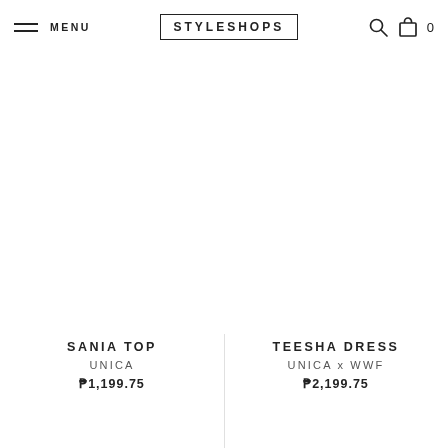MENU | STYLESHOPS
[Figure (screenshot): Two color swatches: orange/tan circle and light pink circle for the Teesha Dress product]
[Figure (photo): Product image area for SANIA TOP (left column, appears white/blank)]
[Figure (photo): Product image area for TEESHA DRESS (right column, appears white/blank)]
SANIA TOP
UNICA
₱1,199.75
TEESHA DRESS
UNICA x WWF
₱2,199.75